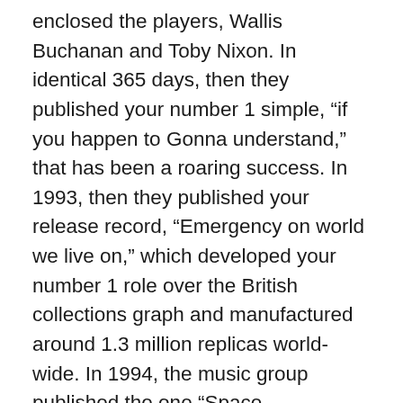enclosed the players, Wallis Buchanan and Toby Nixon. In identical 365 days, then they published your number 1 simple, “if you happen to Gonna understand,” that has been a roaring success. In 1993, then they published your release record, “Emergency on world we live on,” which developed your number 1 role over the British collections graph and manufactured around 1.3 million replicas world-wide. In 1994, the music group published the one “Space adventurer,” which developed the range 1 role over the we nightclub tunes graph.